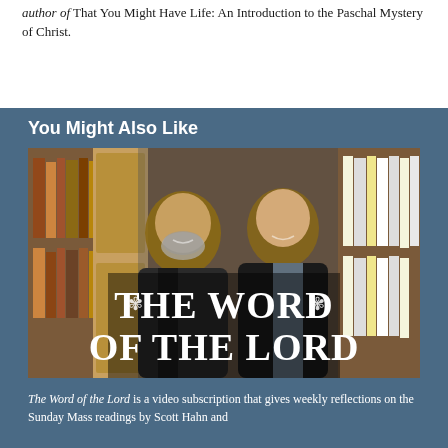author of That You Might Have Life: An Introduction to the Paschal Mystery of Christ.
You Might Also Like
[Figure (photo): Two men smiling in a library with bookshelves behind them. Large white serif text overlaid reads 'THE WORD OF THE LORD' with decorative flourishes.]
The Word of the Lord is a video subscription that gives weekly reflections on the Sunday Mass readings by Scott Hahn and...